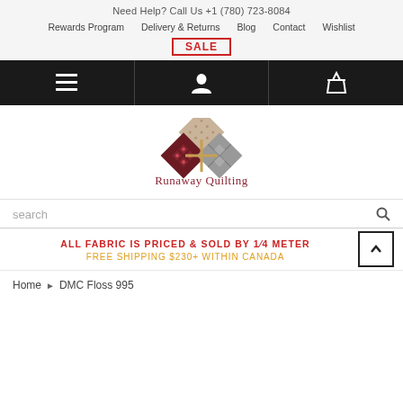Need Help? Call Us +1 (780) 723-8084
Rewards Program  Delivery & Returns  Blog  Contact  Wishlist
SALE
[Figure (logo): Runaway Quilting logo with quilted diamond pattern and text 'Runaway Quilting']
search
ALL FABRIC IS PRICED & SOLD BY 1/4 METER
FREE SHIPPING $230+ WITHIN CANADA
Home › DMC Floss 995